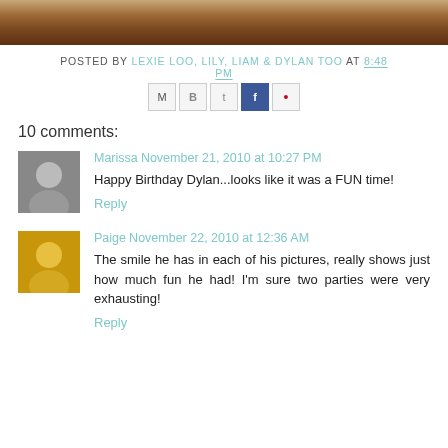[Figure (photo): Top portion of a photo showing a wooden floor surface, cropped at top of page]
POSTED BY LEXIE LOO, LILY, LIAM & DYLAN TOO AT 8:48 PM
[Figure (other): Social share icons: Email, Blogger, Twitter, Facebook, Pinterest]
10 comments:
[Figure (photo): Black and white avatar photo of Marissa]
Marissa November 21, 2010 at 10:27 PM
Happy Birthday Dylan...looks like it was a FUN time!
Reply
[Figure (photo): Color avatar photo of Paige]
Paige November 22, 2010 at 12:36 AM
The smile he has in each of his pictures, really shows just how much fun he had! I'm sure two parties were very exhausting!
Reply